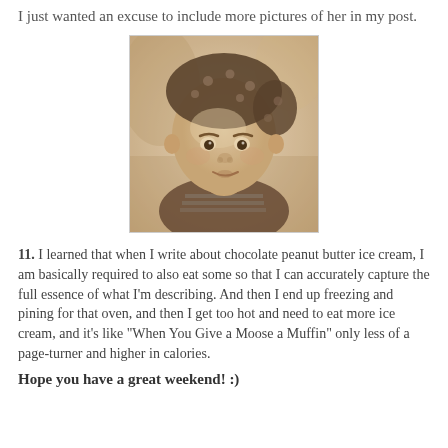I just wanted an excuse to include more pictures of her in my post.
[Figure (photo): Sepia-toned photo of a baby wearing a polka-dot hat, looking forward with a serious expression.]
11. I learned that when I write about chocolate peanut butter ice cream, I am basically required to also eat some so that I can accurately capture the full essence of what I'm describing. And then I end up freezing and pining for that oven, and then I get too hot and need to eat more ice cream, and it's like “When You Give a Moose a Muffin” only less of a page-turner and higher in calories.
Hope you have a great weekend! :)